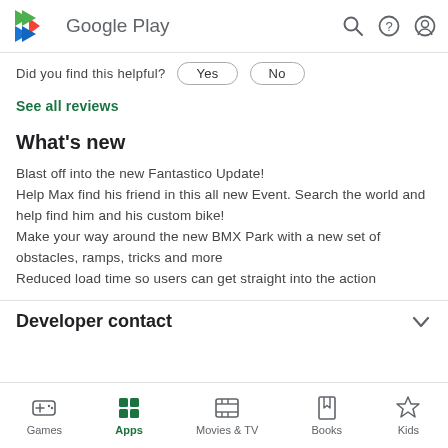Google Play
Did you find this helpful?  Yes  No
See all reviews
What's new
Blast off into the new Fantastico Update!
Help Max find his friend in this all new Event. Search the world and help find him and his custom bike!
Make your way around the new BMX Park with a new set of obstacles, ramps, tricks and more
Reduced load time so users can get straight into the action
Developer contact
Games  Apps  Movies & TV  Books  Kids